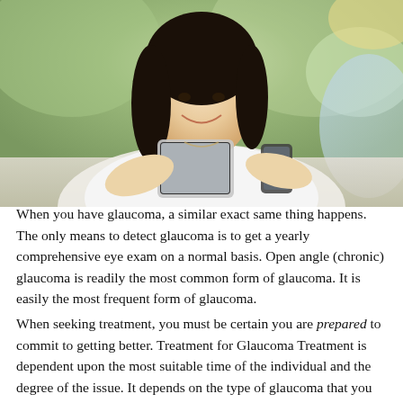[Figure (photo): Young Asian woman smiling and looking at a tablet/device, seated outdoors with blurred green background.]
When you have glaucoma, a similar exact same thing happens. The only means to detect glaucoma is to get a yearly comprehensive eye exam on a normal basis. Open angle (chronic) glaucoma is readily the most common form of glaucoma. It is easily the most frequent form of glaucoma.
When seeking treatment, you must be certain you are prepared to commit to getting better. Treatment for Glaucoma Treatment is dependent upon the most suitable time of the individual and the degree of the issue. It depends on the type of glaucoma that you